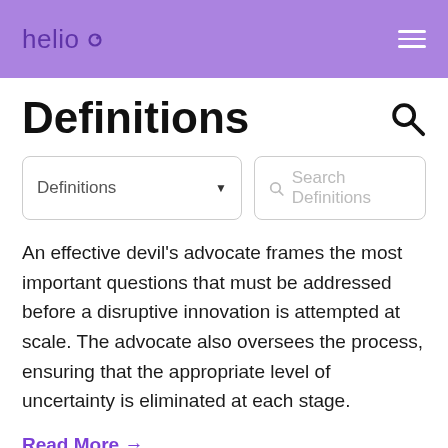helio
Definitions
An effective devil's advocate frames the most important questions that must be addressed before a disruptive innovation is attempted at scale. The advocate also oversees the process, ensuring that the appropriate level of uncertainty is eliminated at each stage.
Read More →